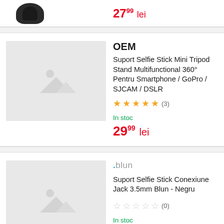[Figure (photo): Product image placeholder showing a small dark object (top portion, partially cut off), with price 27.99 lei shown in red]
27⁹⁹ lei
OEM
Suport Selfie Stick Mini Tripod Stand Multifunctional 360° Pentru Smartphone / GoPro / SJCAM / DSLR
★★★★★ (3)
In stoc
29⁹⁹ lei
[Figure (photo): Grey placeholder image with mountain and circle icon]
.blun
Suport Selfie Stick Conexiune Jack 3.5mm Blun - Negru
☆☆☆☆☆ (0)
In stoc
23⁹⁹ lei  26⁹⁹ lei  -11%